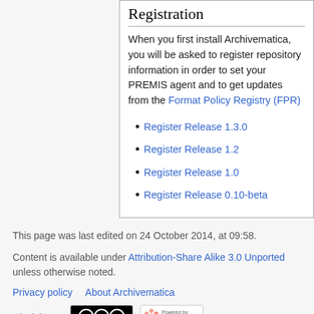Registration
When you first install Archivematica, you will be asked to register repository information in order to set your PREMIS agent and to get updates from the Format Policy Registry (FPR)
Register Release 1.3.0
Register Release 1.2
Register Release 1.0
Register Release 0.10-beta
This page was last edited on 24 October 2014, at 09:58.
Content is available under Attribution-Share Alike 3.0 Unported unless otherwise noted.
Privacy policy   About Archivematica
Disclaimers